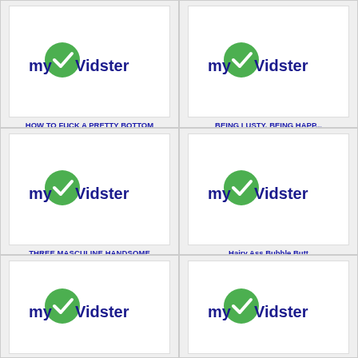[Figure (screenshot): myVidster logo placeholder thumbnail - top left]
HOW TO FUCK A PRETTY BOTTOM - Sexy Dude Holds Bottom
Posted August 20, 2022
[Figure (screenshot): myVidster logo placeholder thumbnail - top right]
BEING LUSTY, BEING HAPP... Beautiful Black Bubble Bu...
Posted August 20, 2022
[Figure (screenshot): myVidster logo placeholder thumbnail - middle left]
THREE MASCULINE HANDSOME DUDES, MAKE MY ASS ON FIRE
Posted August 20, 2022
[Figure (screenshot): myVidster logo placeholder thumbnail - middle right]
Hairy Ass Bubble Butt Wholesome Versatile Blac... Hunk
Posted August 20, 2022
[Figure (screenshot): myVidster logo placeholder thumbnail - bottom left]
[Figure (screenshot): myVidster logo placeholder thumbnail - bottom right]